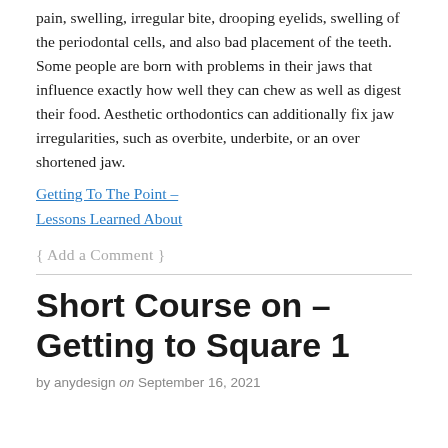pain, swelling, irregular bite, drooping eyelids, swelling of the periodontal cells, and also bad placement of the teeth. Some people are born with problems in their jaws that influence exactly how well they can chew as well as digest their food. Aesthetic orthodontics can additionally fix jaw irregularities, such as overbite, underbite, or an over shortened jaw.
Getting To The Point –
Lessons Learned About
{ Add a Comment }
Short Course on – Getting to Square 1
by anydesign on September 16, 2021